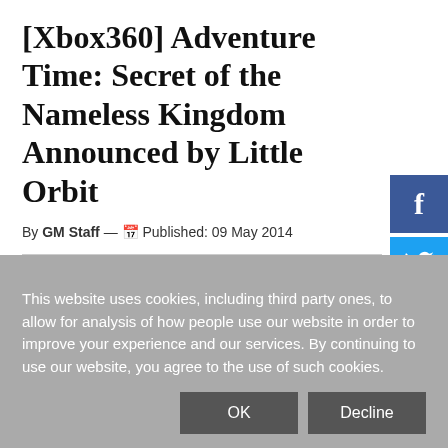[Xbox360] Adventure Time: Secret of the Nameless Kingdom Announced by Little Orbit
By GM Staff — Published: 09 May 2014
[Figure (photo): Broken/missing image placeholder]
This website uses cookies, including third party ones, to allow for analysis of how people use our website in order to improve your experience and our services. By continuing to use our website, you agree to the use of such cookies.